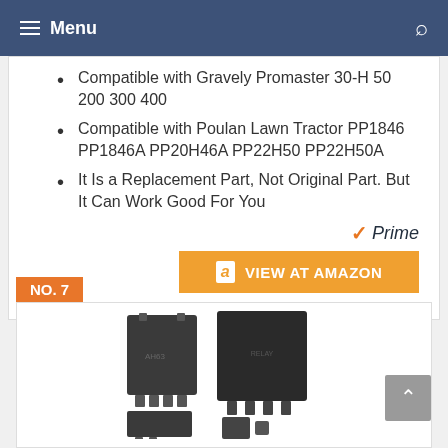Menu
Compatible with Gravely Promaster 30-H 50 200 300 400
Compatible with Poulan Lawn Tractor PP1846 PP1846A PP20H46A PP22H50 PP22H50A
It Is a Replacement Part, Not Original Part. But It Can Work Good For You
Prime VIEW AT AMAZON
NO. 7
[Figure (photo): Product photo showing two black electrical relays side by side]